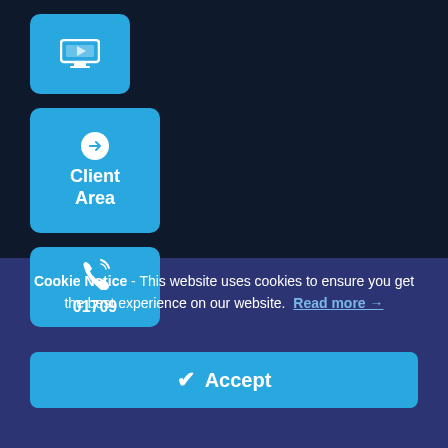[Figure (screenshot): Dark navy background with three cyan/blue rounded buttons stacked vertically on the left side. First button has a monitor/screen icon. Second button has a circled right-arrow icon and text 'Client Area'. Third button has a phone icon and text '01709' partially visible.]
Cookie Notice - This website uses cookies to ensure you get the best experience on our website. Read more →
✔ Accept